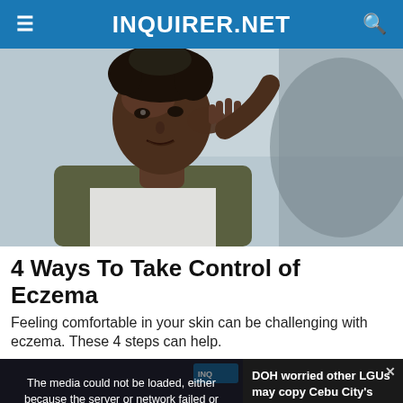INQUIRER.NET
[Figure (photo): Young Black woman touching her face/cheek, looking in a mirror, related to eczema skin care article]
4 Ways To Take Control of Eczema
Feeling comfortable in your skin can be challenging with eczema. These 4 steps can help.
[Figure (screenshot): Video player overlay showing media error: 'The media could not be loaded, either because the server or network failed or because the format is not supported.' with a related news video about DOH worried other LGUs may copy Cebu City's non-mandatory face mask rule in the bottom left, and a text panel on the right reading 'DOH worried other LGUs may copy Cebu City's non-mandatory face ma...']